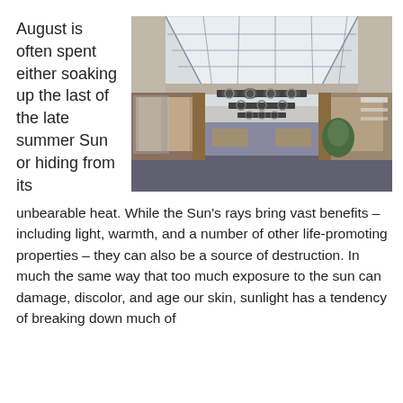August is often spent either soaking up the last of the late summer Sun or hiding from its
[Figure (photo): Interior of a large building with a distinctive skylight ceiling running along the length of the space. Decorative ironwork hangs from the ceiling. The interior has wooden columns and display areas on either side, resembling a library or commercial atrium.]
unbearable heat. While the Sun's rays bring vast benefits – including light, warmth, and a number of other life-promoting properties – they can also be a source of destruction. In much the same way that too much exposure to the sun can damage, discolor, and age our skin, sunlight has a tendency of breaking down much of